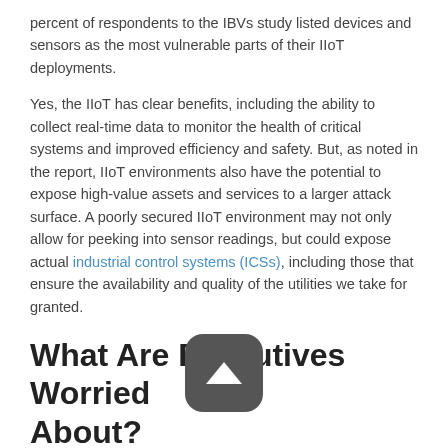percent of respondents to the IBVs study listed devices and sensors as the most vulnerable parts of their IIoT deployments.
Yes, the IIoT has clear benefits, including the ability to collect real-time data to monitor the health of critical systems and improved efficiency and safety. But, as noted in the report, IIoT environments also have the potential to expose high-value assets and services to a larger attack surface. A poorly secured IIoT environment may not only allow for peeking into sensor readings, but could expose actual industrial control systems (ICSs), including those that ensure the availability and quality of the utilities we take for granted.
What Are Executives Worried About?
When asked about what they considered to be their top five IIoT cybersecurity risks, executives listed the exposure of sensitive data — which, incidentally, might not have much of an impact on the quality/availability of water and power — followed